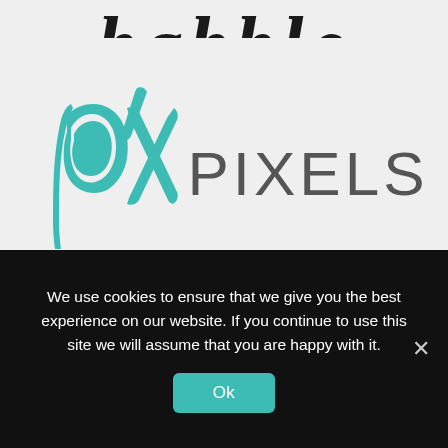[Figure (logo): Partial script/handwritten text logo cut off at top of page, dark bold italic letters on light gray background]
[Figure (logo): Pixels.com logo: teal/turquoise handwritten 'px' script mark on the left, followed by 'PIXELS' in large gray sans-serif uppercase text on light gray background]
We use cookies to ensure that we give you the best experience on our website. If you continue to use this site we will assume that you are happy with it.
Ok